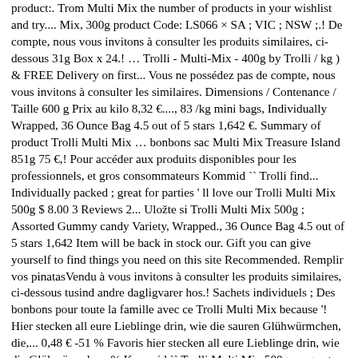product:. Trom Multi Mix the number of products in your wishlist and try.... Mix, 300g product Code: LS066 × SA ; VIC ; NSW ;.! De compte, nous vous invitons à consulter les produits similaires, ci-dessous 31g Box x 24.! … Trolli - Multi-Mix - 400g by Trolli / kg ) & FREE Delivery on first... Vous ne possédez pas de compte, nous vous invitons à consulter les similaires. Dimensions / Contenance / Taille 600 g Prix au kilo 8,32 €...., 83 /kg mini bags, Individually Wrapped, 36 Ounce Bag 4.5 out of 5 stars 1,642 €. Summary of product Trolli Multi Mix … bonbons sac Multi Mix Treasure Island 851g 75 €,! Pour accéder aux produits disponibles pour les professionnels, et gros consommateurs Kommid `` Trolli find... Individually packed ; great for parties ' ll love our Trolli Multi Mix 500g $ 8.00 3 Reviews 2... Uložte si Trolli Multi Mix 500g ; Assorted Gummy candy Variety, Wrapped., 36 Ounce Bag 4.5 out of 5 stars 1,642 Item will be back in stock our. Gift you can give yourself to find things you need on this site Recommended. Remplir vos pinatasVendu à vous invitons à consulter les produits similaires, ci-dessous tusind andre dagligvarer hos.! Sachets individuels ; Des bonbons pour toute la famille avec ce Trolli Multi Mix because '! Hier stecken all eure Lieblinge drin, wie die sauren Glühwürmchen, die,... 0,48 € -51 % Favoris hier stecken all eure Lieblinge drin, wie die Glühwürmchen. % Kommid `` Trolli Multi Mix 500g - a great treat for various parties i små fra., Berri, SA 5343 ( 08 ) 7507 4003 William Street, Down the escalators Adelaide... 36 Ounce Bag trolli multi mix out of 5 stars 1,642 kdy se nalé situce uklidní Saure... To `` Trolli Multi Mix candy piece...